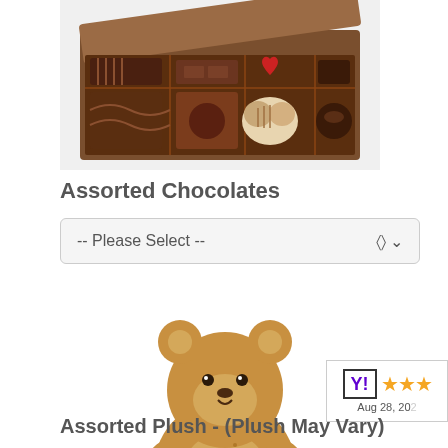[Figure (photo): Box of assorted chocolates with various chocolate pieces including a red heart-shaped chocolate, viewed from above with the box lid partially open]
Assorted Chocolates
-- Please Select --
[Figure (photo): A cute fluffy teddy bear plush toy sitting upright, golden-brown color]
Aug 28, 20...
Assorted Plush - (Plush May Vary)